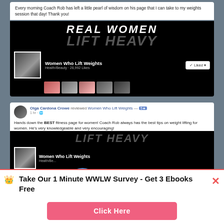Every morning Coach Rob has left a little pearl of wisdom on his page that I can take to my weights session that day! Thank you!
[Figure (screenshot): Facebook page screenshot for 'Women Who Lift Weights' showing black banner with 'REAL WOMEN / LIFT HEAVY' text, profile photo, page name, Health/Beauty category, 28,992 Likes, friend photos, and Liked button]
Olga Cardona Crowe reviewed Women Who Lift Weights — 1 hr · Hands down the BEST fitness page for women! Coach Rob always has the best tips on weight lifting for women. He's very knowledgeable and very encouraging!
[Figure (screenshot): Second Facebook page screenshot for 'Women Who Lift Weights' showing LIFT HEAVY banner, profile, 136 Likes, 15,772 talking about this]
Share
[Figure (infographic): Row of social sharing icons: SMS (blue), WhatsApp (green), Email (grey), Facebook (blue), Twitter (light blue), Crown (dark blue)]
Take Our 1 Minute WWLW Survey - Get 3 Ebooks Free
Click Here